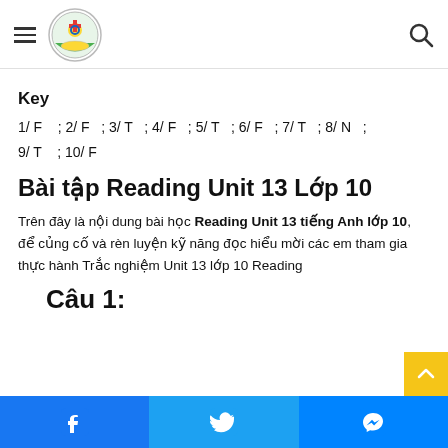Navigation header with hamburger menu, school logo, and search icon
Key
1/ F ; 2/ F ; 3/ T ; 4/ F ; 5/ T ; 6/ F ; 7/ T ; 8/ N ; 9/ T ; 10/ F
Bài tập Reading Unit 13 Lớp 10
Trên đây là nội dung bài học Reading Unit 13 tiếng Anh lớp 10, để củng cố và rèn luyện kỹ năng đọc hiểu mời các em tham gia thực hành Trắc nghiệm Unit 13 lớp 10 Reading
Câu 1:
Facebook | Twitter | Messenger